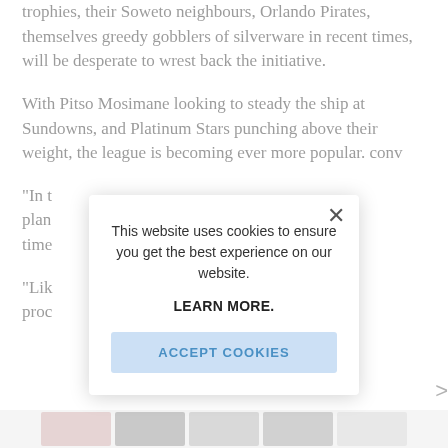trophies, their Soweto neighbours, Orlando Pirates, themselves greedy gobblers of silverware in recent times, will be desperate to wrest back the initiative.
With Pitso Mosimane looking to steady the ship at Sundowns, and Platinum Stars punching above their weight, the league is becoming ever more popular.conv…
“In t… plan… time…
“Like… proc…
[Figure (screenshot): Cookie consent modal dialog overlaying article text. Modal shows: 'This website uses cookies to ensure you get the best experience on our website.' with a 'LEARN MORE.' bold link and an 'ACCEPT COOKIES' button in light blue. A close X button is in the top right of the modal.]